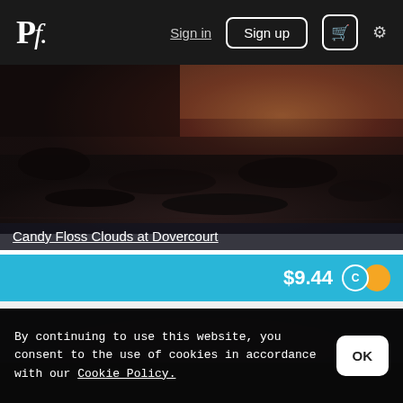Pf. Sign in  Sign up  🛒  ⚙
[Figure (photo): Aerial or coastal dark landscape photo showing water and rocky terrain with sunset reflected colors — Candy Floss Clouds at Dovercourt]
Candy Floss Clouds at Dovercourt
$9.44
[Figure (photo): Dark landscape photo, lower portion of page, partially obscured by cookie consent banner]
By continuing to use this website, you consent to the use of cookies in accordance with our Cookie Policy.